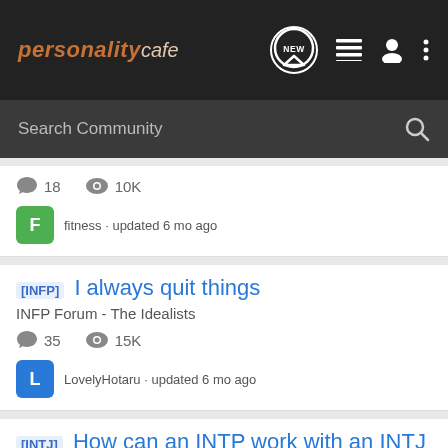personalitycafe
Search Community
18 comments · 10K views · fitness · updated 6 mo ago
[INFP] I always quit things
INFP Forum - The Idealists
35 comments · 15K views · LovelyHotaru · updated 6 mo ago
[INTJ] How can an INTP work with an INTJ boss?
INTJ Forum - The Scientists
11 comments · 16K views